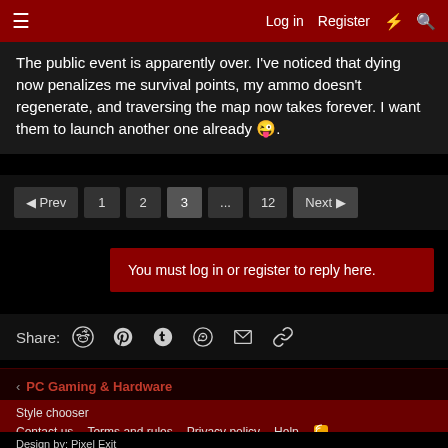Log in  Register
The public event is apparently over. I've noticed that dying now penalizes me survival points, my ammo doesn't regenerate, and traversing the map now takes forever. I want them to launch another one already 😜.
Pagination: Prev 1 2 3 ... 12 Next
You must log in or register to reply here.
Share: (Reddit) (Pinterest) (Tumblr) (WhatsApp) (Email) (Link)
< PC Gaming & Hardware
Style chooser
Contact us  Terms and rules  Privacy policy  Help
Design by: Pixel Exit